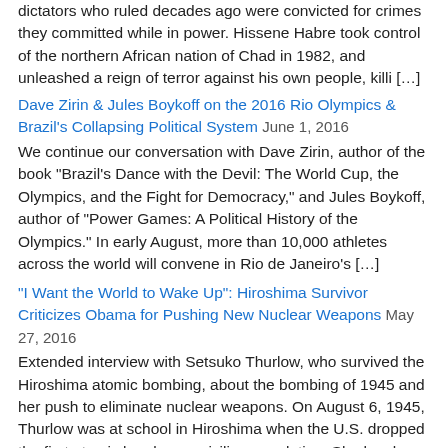dictators who ruled decades ago were convicted for crimes they committed while in power. Hissene Habre took control of the northern African nation of Chad in 1982, and unleashed a reign of terror against his own people, killi […]
Dave Zirin & Jules Boykoff on the 2016 Rio Olympics & Brazil's Collapsing Political System  June 1, 2016
We continue our conversation with Dave Zirin, author of the book "Brazil's Dance with the Devil: The World Cup, the Olympics, and the Fight for Democracy," and Jules Boykoff, author of "Power Games: A Political History of the Olympics." In early August, more than 10,000 athletes across the world will convene in Rio de Janeiro's […]
"I Want the World to Wake Up": Hiroshima Survivor Criticizes Obama for Pushing New Nuclear Weapons  May 27, 2016
Extended interview with Setsuko Thurlow, who survived the Hiroshima atomic bombing, about the bombing of 1945 and her push to eliminate nuclear weapons. On August 6, 1945, Thurlow was at school in Hiroshima when the U.S. dropped the first atomic bomb on a civilian population. She has been an anti-nuclear activist for decades. Watch Part 1
Peace Activist and Holocaust Survivor Hedy Epstein Dies at 91  May 27,